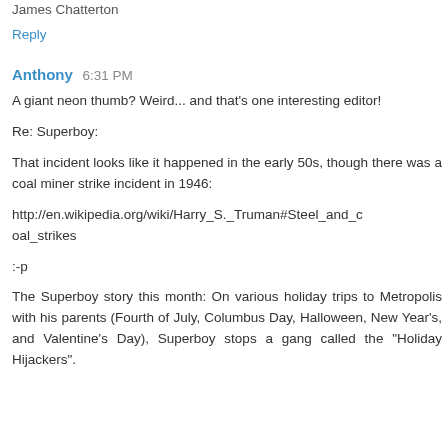James Chatterton
Reply
Anthony  6:31 PM
A giant neon thumb? Weird... and that's one interesting editor!
Re: Superboy:
That incident looks like it happened in the early 50s, though there was a coal miner strike incident in 1946:
http://en.wikipedia.org/wiki/Harry_S._Truman#Steel_and_coal_strikes
:-p
The Superboy story this month: On various holiday trips to Metropolis with his parents (Fourth of July, Columbus Day, Halloween, New Year's, and Valentine's Day), Superboy stops a gang called the "Holiday Hijackers".